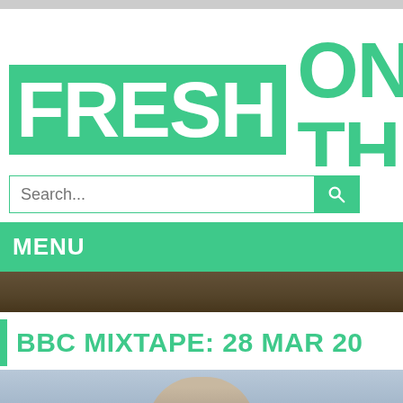FRESH ON TH...
Search...
MENU
[Figure (photo): Dark background decorative photo strip]
BBC MIXTAPE: 28 MAR 20...
[Figure (photo): Person photo, partially visible at bottom of page]